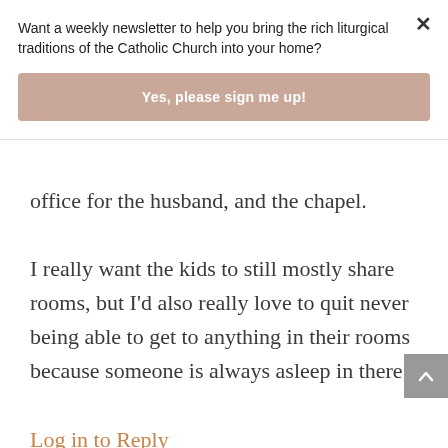Want a weekly newsletter to help you bring the rich liturgical traditions of the Catholic Church into your home?
[Figure (other): Pink button with white bold text: Yes, please sign me up!]
office for the husband, and the chapel.
I really want the kids to still mostly share rooms, but I'd also really love to quit never being able to get to anything in their rooms because someone is always asleep in there!
Log in to Reply